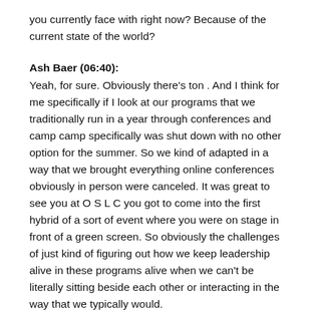you currently face with right now? Because of the current state of the world?
Ash Baer (06:40):
Yeah, for sure. Obviously there's ton . And I think for me specifically if I look at our programs that we traditionally run in a year through conferences and camp camp specifically was shut down with no other option for the summer. So we kind of adapted in a way that we brought everything online conferences obviously in person were canceled. It was great to see you at O S L C you got to come into the first hybrid of a sort of event where you were on stage in front of a green screen. So obviously the challenges of just kind of figuring out how we keep leadership alive in these programs alive when we can't be literally sitting beside each other or interacting in the way that we typically would.